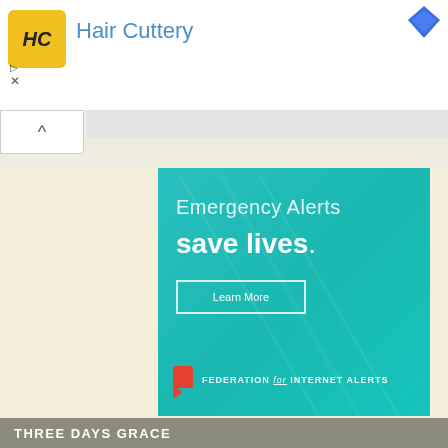[Figure (screenshot): Hair Cuttery advertisement banner with yellow logo, blue text, diamond icon, play and close controls]
[Figure (screenshot): Collapse/chevron button and scrollbar area]
[Figure (advertisement): Emergency Alerts save lives. Learn More. Federation for Internet Alerts advertisement on teal background]
THREE DAYS GRACE
Lyrics (albums)
Lyrics (songs)
Videos
Ringtones